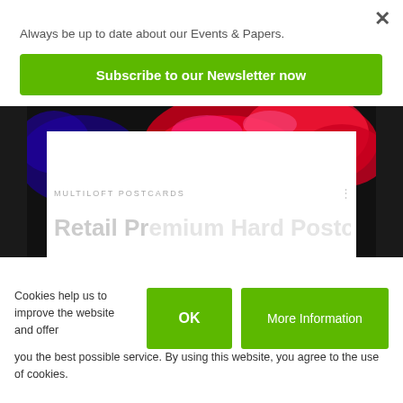Always be up to date about our Events & Papers.
Subscribe to our Newsletter now
[Figure (photo): Dark background with red and colorful floral/abstract image visible at top of card slider]
MULTILOFT POSTCARDS
Retail Premium Hard Postcard (partial, cut off)
Cookies help us to improve the website and offer you the best possible service. By using this website, you agree to the use of cookies.
OK
More Information